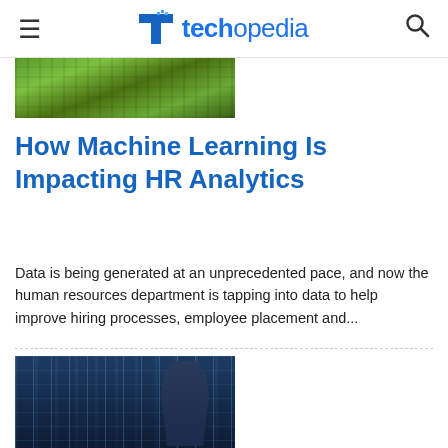techopedia
[Figure (photo): Partial green nature/technology background image at top of article]
How Machine Learning Is Impacting HR Analytics
Data is being generated at an unprecedented pace, and now the human resources department is tapping into data to help improve hiring processes, employee placement and...
[Figure (photo): Industrial or server room background with a person in a suit in the foreground]